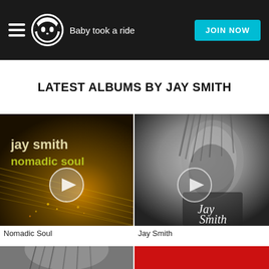Baby took a ride — JOIN NOW (Napster header)
LATEST ALBUMS BY JAY SMITH
[Figure (photo): Album cover for Nomadic Soul by Jay Smith — dark olive/amber background with guitar strings and city lights, text 'jay smith nomadic soul' in green/white, play button overlay]
Nomadic Soul
[Figure (photo): Album cover for Jay Smith self-titled — black and white photo of Jay Smith with long hair looking sideways, handwritten 'Jay Smith' signature text, play button overlay]
Jay Smith
[Figure (photo): Partial album cover at bottom left — black and white photo, cropped]
[Figure (photo): Partial album cover at bottom right — red background, cropped]